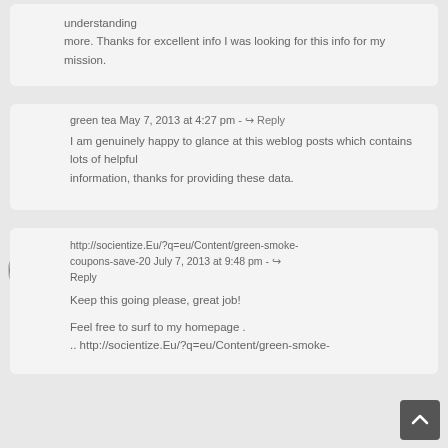understanding
more. Thanks for excellent info I was looking for this info for my mission.
green tea May 7, 2013 at 4:27 pm - Reply
I am genuinely happy to glance at this weblog posts which contains lots of helpful information, thanks for providing these data.
http://socientize.Eu/?q=eu/Content/green-smoke-coupons-save-20 July 7, 2013 at 9:48 pm - Reply
Keep this going please, great job!

Feel free to surf to my homepage .
.. http://socientize.Eu/?q=eu/Content/green-smoke-